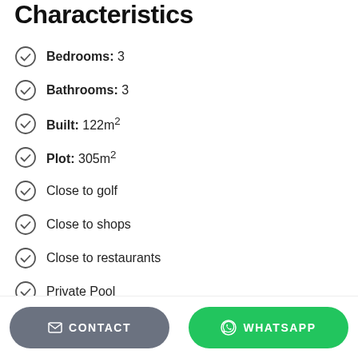Characteristics
Bedrooms: 3
Bathrooms: 3
Built: 122m²
Plot: 305m²
Close to golf
Close to shops
Close to restaurants
Private Pool
Views
Solarium / roof terrace
Floor heating in bathrooms
CONTACT   WHATSAPP